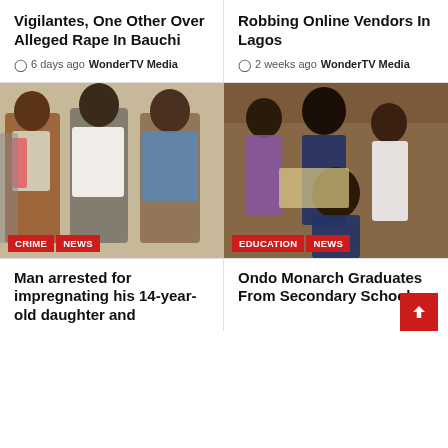Vigilantes, One Other Over Alleged Rape In Bauchi
6 days ago  WonderTV Media
Robbing Online Vendors In Lagos
2 weeks ago  WonderTV Media
[Figure (photo): Three men standing together, crime suspects in Bauchi, with CRIME and NEWS tags]
[Figure (photo): Group of young people in formal attire at a graduation ceremony, with EDUCATION and NEWS tags]
Man arrested for impregnating his 14-year-old daughter and
Ondo Monarch Graduates From Secondary School